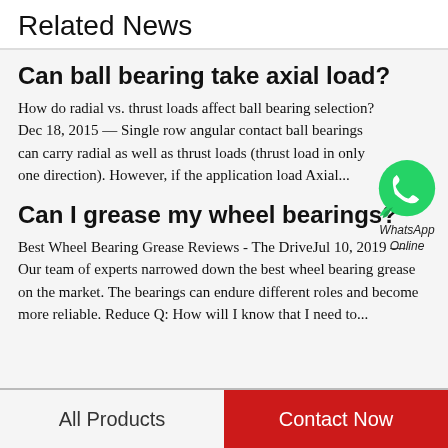Related News
Can ball bearing take axial load?
How do radial vs. thrust loads affect ball bearing selection?Dec 18, 2015 — Single row angular contact ball bearings can carry radial as well as thrust loads (thrust load in only one direction). However, if the application load  Axial...
[Figure (logo): WhatsApp Online green circle logo with phone icon, labeled 'WhatsApp Online']
Can I grease my wheel bearings?
Best Wheel Bearing Grease Reviews - The DriveJul 10, 2019 — Our team of experts narrowed down the best wheel bearing grease on the market. The bearings can endure different roles and become more reliable. Reduce Q: How will I know that I need to...
All Products    Contact Now